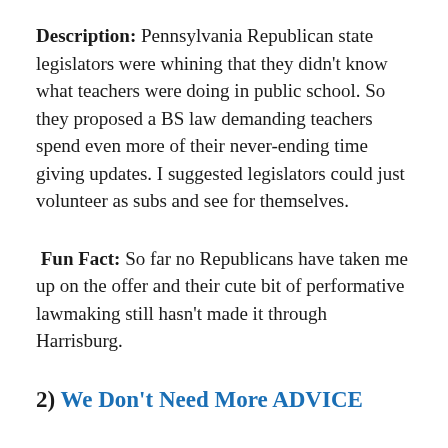Description: Pennsylvania Republican state legislators were whining that they didn't know what teachers were doing in public school. So they proposed a BS law demanding teachers spend even more of their never-ending time giving updates. I suggested legislators could just volunteer as subs and see for themselves.
Fun Fact: So far no Republicans have taken me up on the offer and their cute bit of performative lawmaking still hasn't made it through Harrisburg.
2) We Don't Need More ADVICE